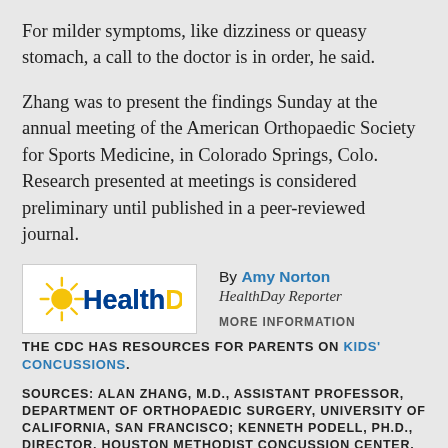For milder symptoms, like dizziness or queasy stomach, a call to the doctor is in order, he said.
Zhang was to present the findings Sunday at the annual meeting of the American Orthopaedic Society for Sports Medicine, in Colorado Springs, Colo. Research presented at meetings is considered preliminary until published in a peer-reviewed journal.
[Figure (logo): HealthDay logo — stylized sun with rays in yellow/gold above blue 'HealthDay' text]
By Amy Norton
HealthDay Reporter
MORE INFORMATION
THE CDC HAS RESOURCES FOR PARENTS ON KIDS' CONCUSSIONS.
SOURCES: ALAN ZHANG, M.D., ASSISTANT PROFESSOR, DEPARTMENT OF ORTHOPAEDIC SURGERY, UNIVERSITY OF CALIFORNIA, SAN FRANCISCO; KENNETH PODELL, PH.D., DIRECTOR, HOUSTON METHODIST CONCUSSION CENTER, HOUSTON; JULY 10, 2016, PRESENTATION, AMERICAN ORTHOPAEDIC SOCIETY FOR SPORTS MEDICINE, COLORADO SPRINGS, COLO.